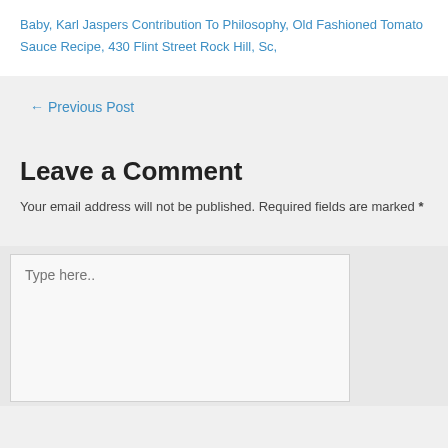Baby, Karl Jaspers Contribution To Philosophy, Old Fashioned Tomato Sauce Recipe, 430 Flint Street Rock Hill, Sc,
← Previous Post
Leave a Comment
Your email address will not be published. Required fields are marked *
Type here..